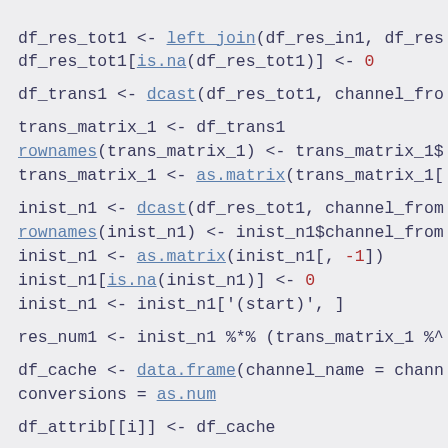df_res_tot1 <- left_join(df_res_in1, df_res...
df_res_tot1[is.na(df_res_tot1)] <- 0

df_trans1 <- dcast(df_res_tot1, channel_fro...

trans_matrix_1 <- df_trans1
rownames(trans_matrix_1) <- trans_matrix_1$...
trans_matrix_1 <- as.matrix(trans_matrix_1[...

inist_n1 <- dcast(df_res_tot1, channel_from...
rownames(inist_n1) <- inist_n1$channel_from...
inist_n1 <- as.matrix(inist_n1[, -1])
inist_n1[is.na(inist_n1)] <- 0
inist_n1 <- inist_n1['(start)', ]

res_num1 <- inist_n1 %*% (trans_matrix_1 %^...

df_cache <- data.frame(channel_name = chann...
                       conversions = as.num...

df_attrib[[i]] <- df_cache...